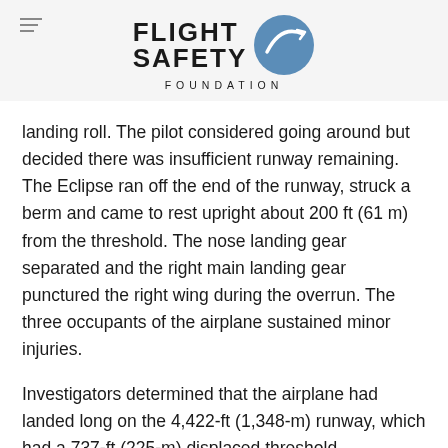FLIGHT SAFETY FOUNDATION
landing roll. The pilot considered going around but decided there was insufficient runway remaining. The Eclipse ran off the end of the runway, struck a berm and came to rest upright about 200 ft (61 m) from the threshold. The nose landing gear separated and the right main landing gear punctured the right wing during the overrun. The three occupants of the airplane sustained minor injuries.
Investigators determined that the airplane had landed long on the 4,422-ft (1,348-m) runway, which had a 737-ft (225-m) displaced threshold. “Estimated landing distance calculations revealed that the airplane required about 3,063 ft [934 m] when crossing the threshold at 50 ft above ground level,” the report said. “However, the airplane